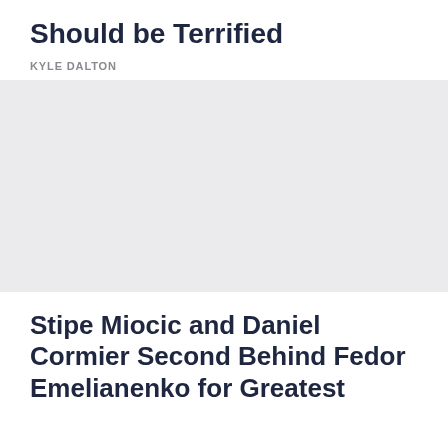Should be Terrified
KYLE DALTON
[Figure (photo): Gray placeholder image block]
Stipe Miocic and Daniel Cormier Second Behind Fedor Emelianenko for Greatest